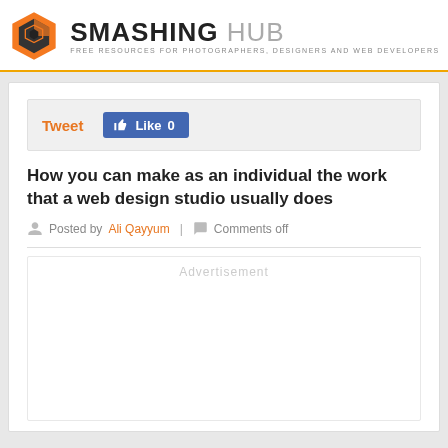[Figure (logo): Smashing Hub logo — orange hexagon icon with stylized S/C letter mark, followed by site name SMASHING HUB in bold black/grey text, tagline FREE RESOURCES FOR PHOTOGRAPHERS, DESIGNERS AND WEB DEVELOPERS]
Tweet  Like 0
How you can make as an individual the work that a web design studio usually does
Posted by Ali Qayyum  |  Comments off
Advertisement